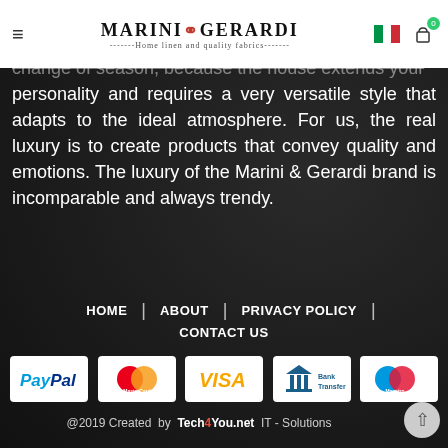MARINI & GERARDI — Home linen and quality fabrics
change of season, because the house extends your personality and requires a very versatile style that adapts to the ideal atmosphere. For us, the real luxury is to create products that convey quality and emotions. The luxury of the Marini & Gerardi brand is incomparable and always trendy.
HOME
ABOUT
PRIVACY POLICY
CONTACT US
[Figure (logo): PayPal payment logo]
[Figure (logo): MasterCard payment logo]
[Figure (logo): VISA payment logo]
[Figure (logo): Bank Transfer logo]
[Figure (logo): Maestro payment logo]
@2019 Created by Tech4You.net IT - Solutions